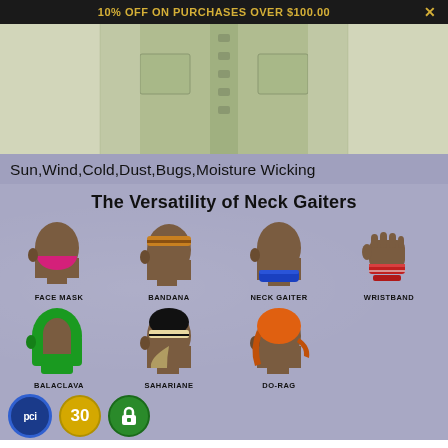10% OFF ON PURCHASES OVER $100.00  X
[Figure (photo): Product photo showing olive/khaki fabric shirt close-up with pockets visible]
Sun, Wind, Cold, Dust, Bugs, Moisture Wicking
[Figure (infographic): Infographic showing The Versatility of Neck Gaiters with 8 illustrated icons: Face Mask (pink), Bandana (tan/orange stripe), Neck Gaiter (blue), Wristband (red), Balaclava (green), Sahariane (black/tan), Do-Rag (orange), and partial bottom row icons on lavender/purple textured background]
PCI  30  (lock icon)